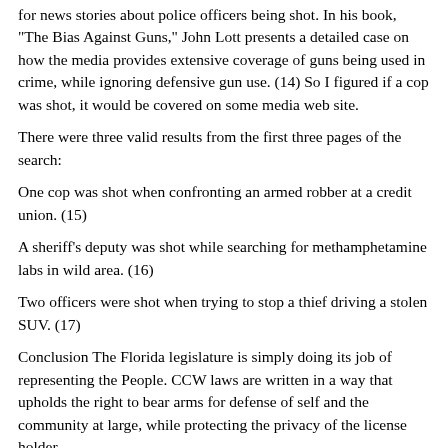for news stories about police officers being shot. In his book, "The Bias Against Guns," John Lott presents a detailed case on how the media provides extensive coverage of guns being used in crime, while ignoring defensive gun use. (14) So I figured if a cop was shot, it would be covered on some media web site.
There were three valid results from the first three pages of the search:
One cop was shot when confronting an armed robber at a credit union. (15)
A sheriff's deputy was shot while searching for methamphetamine labs in wild area. (16)
Two officers were shot when trying to stop a thief driving a stolen SUV. (17)
Conclusion The Florida legislature is simply doing its job of representing the People. CCW laws are written in a way that upholds the right to bear arms for defense of self and the community at large, while protecting the privacy of the license holder.
Rush Limbaugh is wont to say "It's not the evidence that matters; it's the seriousness of the charge." When confronting the issue of